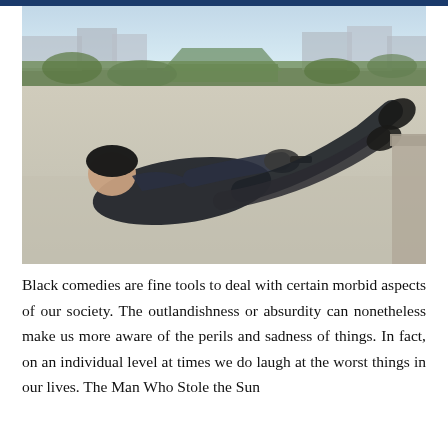[Figure (photo): A man in a dark suit lying on a rooftop or flat surface, holding a gun, with an urban skyline, greenery, and a traditional-style roof structure visible in the background. The photo appears to be from a film scene.]
Black comedies are fine tools to deal with certain morbid aspects of our society. The outlandishness or absurdity can nonetheless make us more aware of the perils and sadness of things. In fact, on an individual level at times we do laugh at the worst things in our lives. The Man Who Stole the Sun